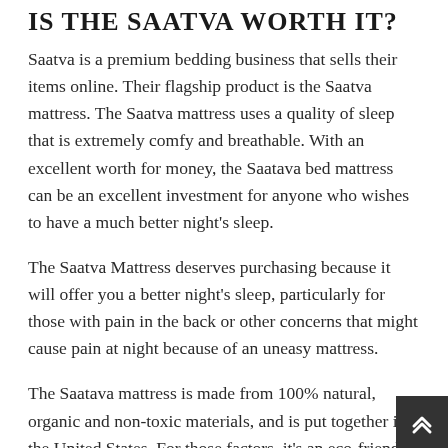IS THE SAATVA WORTH IT?
Saatva is a premium bedding business that sells their items online. Their flagship product is the Saatva mattress. The Saatva mattress uses a quality of sleep that is extremely comfy and breathable. With an excellent worth for money, the Saatava bed mattress can be an excellent investment for anyone who wishes to have a much better night's sleep.
The Saatva Mattress deserves purchasing because it will offer you a better night's sleep, particularly for those with pain in the back or other concerns that might cause pain at night because of an uneasy mattress.
The Saatava mattress is made from 100% natural, organic and non-toxic materials, and is put together in the United States. For those factors, it's an eco-friendly alternative for those who want to sleep on